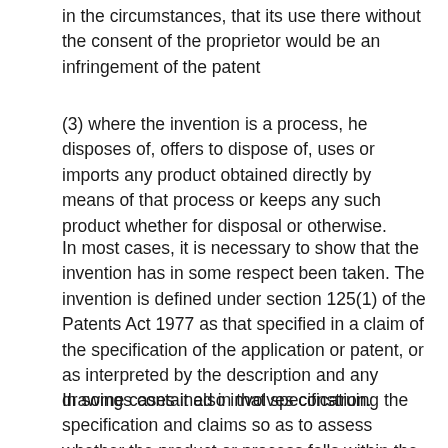in the circumstances, that its use there without the consent of the proprietor would be an infringement of the patent
(3) where the invention is a process, he disposes of, offers to dispose of, uses or imports any product obtained directly by means of that process or keeps any such product whether for disposal or otherwise.
In most cases, it is necessary to show that the invention has in some respect been taken. The invention is defined under section 125(1) of the Patents Act 1977 as that specified in a claim of the specification of the application or patent, or as interpreted by the description and any drawings contained in that specification.
In some cases it also involves construing the specification and claims so as to assess whether the product or process falls within the claims of the patent.